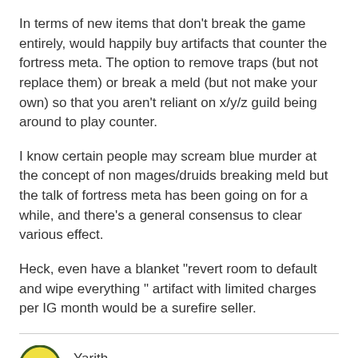In terms of new items that don't break the game entirely, would happily buy artifacts that counter the fortress meta. The option to remove traps (but not replace them) or break a meld (but not make your own) so that you aren't reliant on x/y/z guild being around to play counter.
I know certain people may scream blue murder at the concept of non mages/druids breaking meld but the talk of fortress meta has been going on for a while, and there's a general consensus to clear various effect.
Heck, even have a blanket "revert room to default and wipe everything " artifact with limited charges per IG month would be a surefire seller.
[Figure (illustration): Yellow smiley face avatar icon with dark green border, representing user Yarith]
Yarith
February 2017
I think most people could get behind a room breaker if it was a fully channeled, interrupt-by-sprawl,blind,entangle 5-6 second channel which strips shields while attempting.